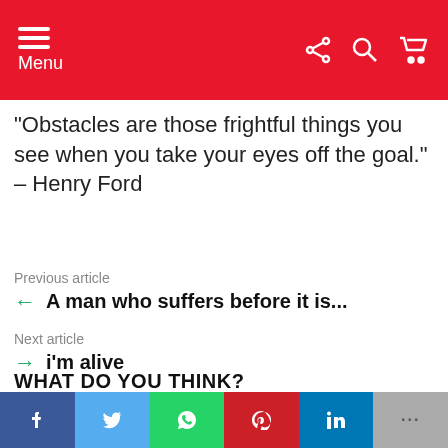Menu
“Obstacles are those frightful things you see when you take your eyes off the goal.” – Henry Ford
Previous article
A man who suffers before it is...
Next article
i’m alive
WHAT DO YOU THINK?
0